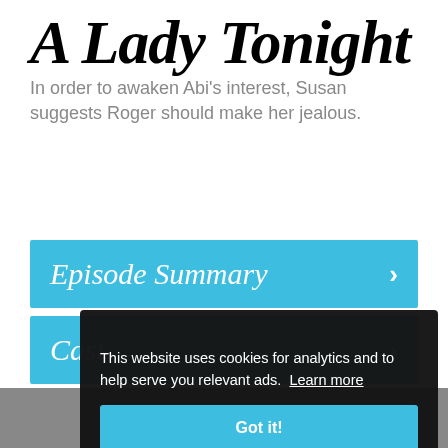A Lady Tonight
In order to awaken Abi's interest, Susan suggests Roger should make her jealous.
Episode Summary
Cast
This website uses cookies for analytics and to help serve you relevant ads.  Learn more
Got it!